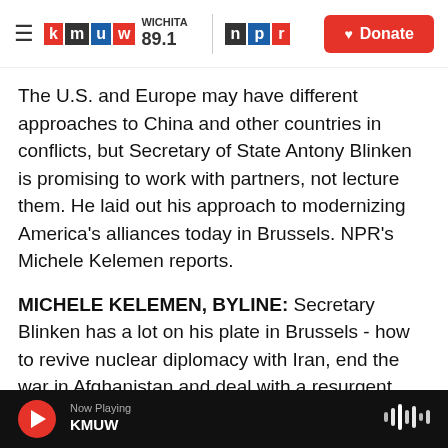KMUW WICHITA 89.1 | NPR — Donate
The U.S. and Europe may have different approaches to China and other countries in conflicts, but Secretary of State Antony Blinken is promising to work with partners, not lecture them. He laid out his approach to modernizing America's alliances today in Brussels. NPR's Michele Kelemen reports.
MICHELE KELEMEN, BYLINE: Secretary Blinken has a lot on his plate in Brussels - how to revive nuclear diplomacy with Iran, end the war in Afghanistan and deal with a resurgent Russia and a rising China.
Now Playing KMUW